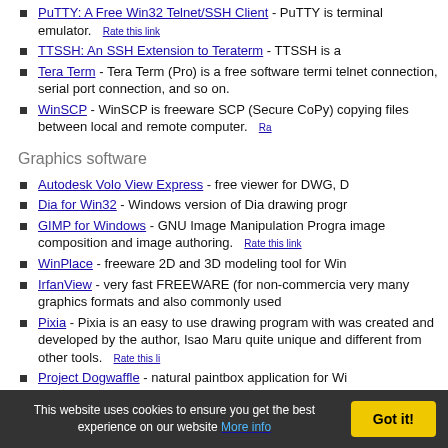PuTTY: A Free Win32 Telnet/SSH Client - PuTTY is terminal emulator. Rate this link
TTSSH: An SSH Extension to Teraterm - TTSSH is a
Tera Term - Tera Term (Pro) is a free software termi telnet connection, serial port connection, and so on.
WinSCP - WinSCP is freeware SCP (Secure CoPy) copying files between local and remote computer. Ra
Graphics software
Autodesk Volo View Express - free viewer for DWG, D
Dia for Win32 - Windows version of Dia drawing progr
GIMP for Windows - GNU Image Manipulation Progra image composition and image authoring. Rate this link
WinPlace - freeware 2D and 3D modeling tool for Win
IrfanView - very fast FREEWARE (for non-commercia very many graphics formats and also commonly used
Pixia - Pixia is an easy to use drawing program with was created and developed by the author, Isao Maru quite unique and different from other tools. Rate this li
Project Dogwaffle - natural paintbox application for Wi
SPLOT - tool intended for simulating the HP-GL/2, HP
WEBPlotter - HP-GL/2 and HP-GL plugin Rate this link
WiringX - WiringX is an upgrade to the old Wiring Dia FREEWARE! Rate this link
WiringX - With this software you can create simple which looks better then to draw them by hand. The so
WinGIMP - The GIMP is the GNU Image Manipulatio
This website uses cookies to ensure you get the best experience on our website More info   Got it!